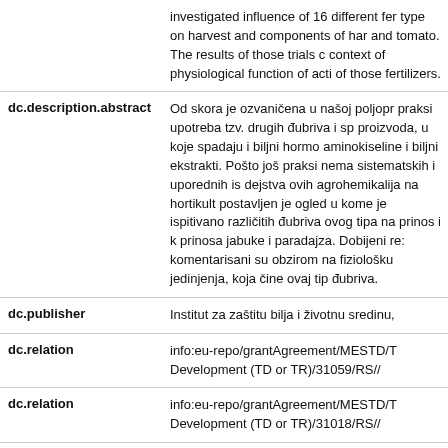| Field | Value |
| --- | --- |
|  | investigated influence of 16 different fer type on harvest and components of har and tomato. The results of those trials c context of physiological function of acti of those fertilizers. |
| dc.description.abstract | Od skora je ozvaničena u našoj poljopr praksi upotreba tzv. drugih đubriva i sp proizvoda, u koje spadaju i biljni hormo aminokiseline i biljni ekstrakti. Pošto jo praksi nema sistematskih i uporednih is dejstva ovih agrohemikalija na hortikult postavljen je ogled u kome je ispitivano različitih đubriva ovog tipa na prinos i k prinosa jabuke i paradajza. Dobijeni re: komentarisani su obzirom na fiziološku jedinjenja, koja čine ovaj tip đubriva. |
| dc.publisher | Institut za zaštitu bilja i životnu sredinu, |
| dc.relation | info:eu-repo/grantAgreement/MESTD/T Development (TD or TR)/31059/RS// |
| dc.relation | info:eu-repo/grantAgreement/MESTD/T Development (TD or TR)/31018/RS// |
| dc.rights | openAccess |